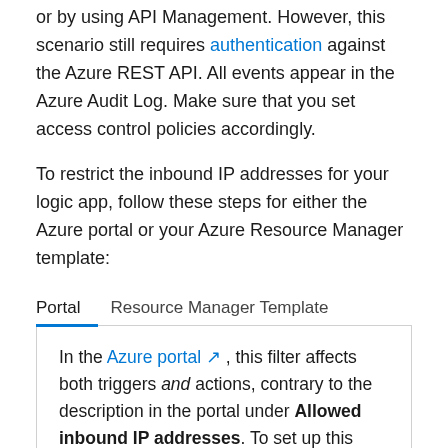or by using API Management. However, this scenario still requires authentication against the Azure REST API. All events appear in the Azure Audit Log. Make sure that you set access control policies accordingly.
To restrict the inbound IP addresses for your logic app, follow these steps for either the Azure portal or your Azure Resource Manager template:
In the Azure portal, this filter affects both triggers and actions, contrary to the description in the portal under Allowed inbound IP addresses. To set up this filter separately for triggers and for actions, use the accessControl object in an Azure Resource Manager template for your logic app or the Azure Logic Apps REST API: Workflow - Create Or Update operation.